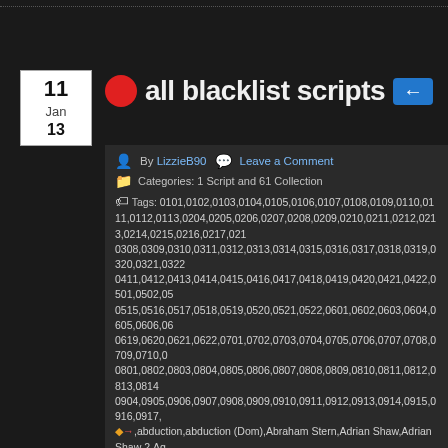all blacklist scripts
By LizzieB90  Leave a Comment
Categories: 1 Script and 61 Collection
Tags: 0101,0102,0103,0104,0105,0106,0107,0108,0109,0110,0111,0112,0113,0204,0205,0206,0207,0208,0209,0210,0211,0212,0213,0214,0215,0216,0217,0308,0309,0310,0311,0312,0313,0314,0315,0316,0317,0318,0319,0320,0321,0322,0411,0412,0413,0414,0415,0416,0417,0418,0419,0420,0421,0422,0501,0502,0515,0516,0517,0518,0519,0520,0521,0522,0601,0602,0603,0604,0605,0606,0619,0620,0621,0622,0701,0702,0703,0704,0705,0706,0707,0708,0709,0710,0801,0802,0803,0804,0805,0806,0807,0808,0809,0810,0811,0812,0813,0814,0904,0905,0906,0907,0908,0909,0910,0911,0912,0913,0914,0915,0916,0917, abduction,abduction (Dom),Abraham Stern,Adrian Shaw,Adrian Shaw 2,Alistair Pitt,Ambrosia,Andrew Kennison,Anna-Gracia Duerte,Anne,Anne and Re-,Anslo Garrick 2,Apothecary,Aram in charge,Arcane Wireless,Architect,Arioch C-,intelligence,assassin,assassination attempt,assassins,avenging angel,avocados,backstory (Liz),backstory (Ressler),bad trip,Balthasar "Bino" Baker,Baltimore,Bar-,Benjamin Okara,Benjamin T Okara,Berlin,Berlin-2,Between Sleep and Awake,Bi-,Bobbit,Bogdan Krilov,Boone,Boukman Baptiste,bounty hunter,Braxton,Braxton 2-,May,Capricorn Killer,Captain Kidd,Caretaker,Cartel,Carter (Glen) dies,Caul,cel-,marriage,clinical trial (illegal),code breaking,cold case,computer chips,con arti-,Cooper arrested,copycat killer,Cornelius Ruck,corruption,Corsican,counterfeits,Cryptobanker,cryptocurrency,cult,Cyprus,Cyranoid,D (Minister),D death of-,Hunter,Dembe,Dembe Zuma,Dembe/Red,Denisov,Devane,Devlin,Devry,Diaz,di-,Dom shot,doping,doppelganger (Liz),doppelganger,Dr Adrian Shaw,Dr Adrian Sha-,Krilov,Dr Laken Perillos,Dr Lewis Powell,Dr Linus Creel,Dr Maier,Dr Razmik Ma-,trade,drug trafficking,Duerte,duffel revealed,E death,Earl King,Easy Scripts,Easy Search 3,Easy Search 4,Easy Search 5,Easy Search 6,Easy Search 7,Easy Sea-